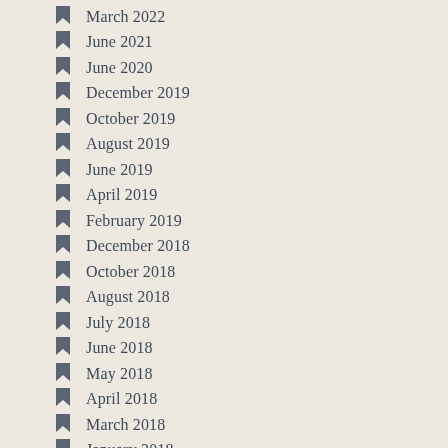March 2022
June 2021
June 2020
December 2019
October 2019
August 2019
June 2019
April 2019
February 2019
December 2018
October 2018
August 2018
July 2018
June 2018
May 2018
April 2018
March 2018
January 2018